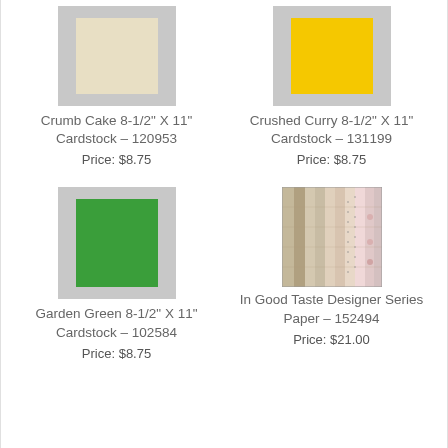[Figure (photo): Crumb Cake cardstock sample showing beige/cream colored sheet on gray background]
Crumb Cake 8-1/2" X 11" Cardstock – 120953
Price: $8.75
[Figure (photo): Crushed Curry cardstock sample showing bright yellow sheet on gray background]
Crushed Curry 8-1/2" X 11" Cardstock – 131199
Price: $8.75
[Figure (photo): Garden Green cardstock sample showing green sheet on gray background]
Garden Green 8-1/2" X 11" Cardstock – 102584
Price: $8.75
[Figure (photo): In Good Taste Designer Series Paper showing multiple patterned paper strips in earthy tones with floral and wood grain patterns]
In Good Taste Designer Series Paper – 152494
Price: $21.00